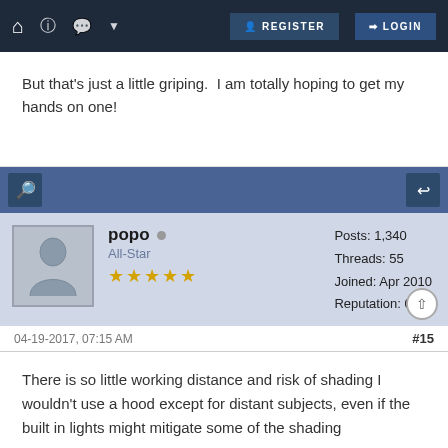REGISTER  LOGIN
But that's just a little griping.  I am totally hoping to get my hands on one!
popo  All-Star  Posts: 1,340  Threads: 55  Joined: Apr 2010  Reputation: 0
04-19-2017, 07:15 AM   #15
There is so little working distance and risk of shading I wouldn't use a hood except for distant subjects, even if the built in lights might mitigate some of the shading